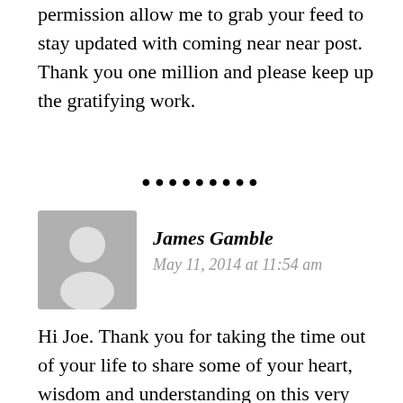permission allow me to grab your feed to stay updated with coming near near post. Thank you one million and please keep up the gratifying work.
•••••••••
James Gamble
May 11, 2014 at 11:54 am
Hi Joe. Thank you for taking the time out of your life to share some of your heart, wisdom and understanding on this very interesting and important subject concerning heaven and hell, and to see what